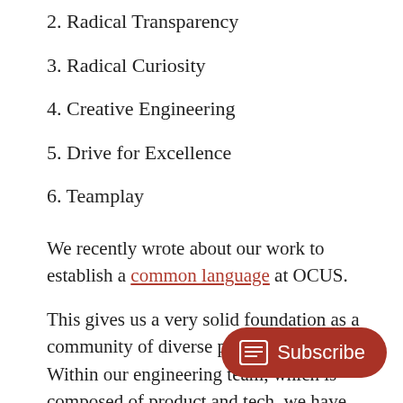2. Radical Transparency
3. Radical Curiosity
4. Creative Engineering
5. Drive for Excellence
6. Teamplay
We recently wrote about our work to establish a common language at OCUS.
This gives us a very solid foundation as a community of diverse people. Within our engineering team, which is composed of product and tech, we have also be[en thinking] about how we can codify how we [build] our products together.